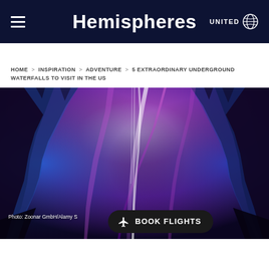Hemispheres — United Airlines in-flight magazine header with hamburger menu and United logo
HOME > INSPIRATION > ADVENTURE > 5 EXTRAORDINARY UNDERGROUND WATERFALLS TO VISIT IN THE US
[Figure (photo): Underground cave with a waterfall illuminated by dramatic purple and blue lighting, showing tall rock formations and cascading water in the center]
Photo: Zoonar GmbH/Alamy S...